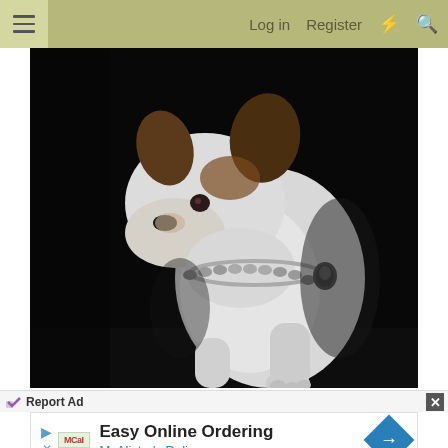Log in  Register
[Figure (photo): A white Jack Russell terrier dog with brown markings on its head, wearing a silver chain collar, sitting against a dark background and looking to the left.]
Report Ad
[Figure (infographic): Advertisement for McAlister's Deli featuring text 'Easy Online Ordering' and 'McAlister's Deli' with a blue navigation arrow icon on the right.]